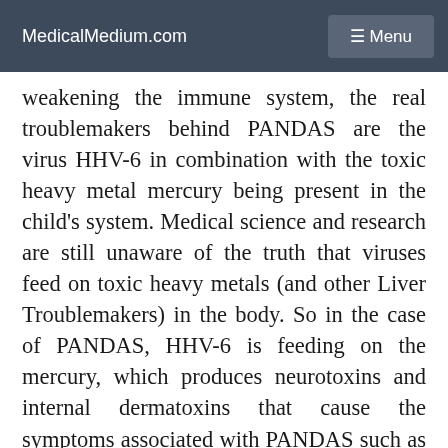MedicalMedium.com  ☰ Menu
weakening the immune system, the real troublemakers behind PANDAS are the virus HHV-6 in combination with the toxic heavy metal mercury being present in the child's system. Medical science and research are still unaware of the truth that viruses feed on toxic heavy metals (and other Liver Troublemakers) in the body. So in the case of PANDAS, HHV-6 is feeding on the mercury, which produces neurotoxins and internal dermatoxins that cause the symptoms associated with PANDAS such as OCD, spasms